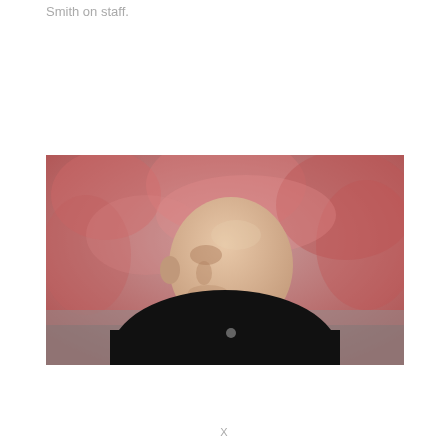Smith on staff.
[Figure (photo): A bald man in a black jacket viewed from the side, standing on a football field sideline with red-clad crowd blurred in the background.]
X